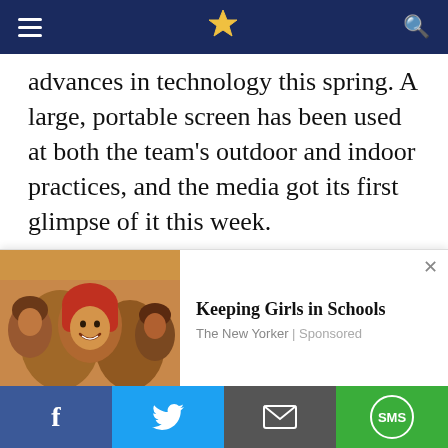≡ [logo] 🔍
advances in technology this spring. A large, portable screen has been used at both the team's outdoor and indoor practices, and the media got its first glimpse of it this week.
Franklin said the team uses the screen mostly for replay purposes. The players can instantly watch the previous play and see exactly what went right or wrong and make corrections as needed. He wants to permanently install a screen like that inside Holuba Hall, but for now, the mobile one will have to
[Figure (photo): Advertisement overlay with a photo of smiling girls in a school setting, promoting 'Keeping Girls in Schools' by The New Yorker (Sponsored)]
Keeping Girls in Schools
The New Yorker | Sponsored
Facebook | Twitter | Email | SMS share buttons